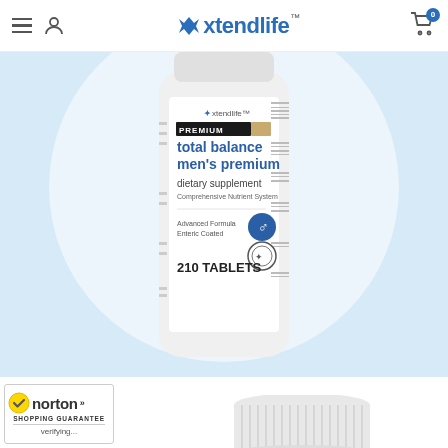xtendlife
[Figure (photo): Close-up photo of Xtendlife Total Balance Men's Premium dietary supplement bottle showing label with 'PREMIUM', 'total balance men's premium', 'dietary supplement', 'Comprehensive Nutrient System', 'Advanced Formula Enteric Coated', '210 TABLETS', male symbol badge, on light blue background]
[Figure (logo): Norton Shopping Guarantee badge with checkmark, verifying text]
[Figure (photo): White ribbed bottle cap at bottom of page]